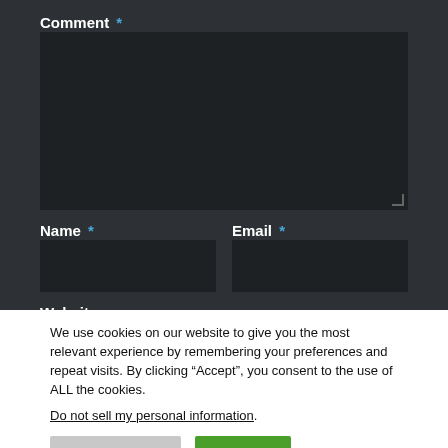Comment *
[Figure (screenshot): Comment textarea input field (dark background)]
Name *
Email *
[Figure (screenshot): Name text input field (dark background)]
[Figure (screenshot): Email text input field (dark background)]
Website
[Figure (screenshot): Website text input field (dark background, partially visible)]
We use cookies on our website to give you the most relevant experience by remembering your preferences and repeat visits. By clicking “Accept”, you consent to the use of ALL the cookies.
Do not sell my personal information.
Cookie Settings
Accept